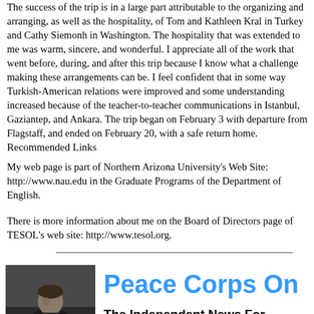The success of the trip is in a large part attributable to the organizing and arranging, as well as the hospitality, of Tom and Kathleen Kral in Turkey and Cathy Siemonh in Washington. The hospitality that was extended to me was warm, sincere, and wonderful. I appreciate all of the work that went before, during, and after this trip because I know what a challenge making these arrangements can be. I feel confident that in some way Turkish-American relations were improved and some understanding increased because of the teacher-to-teacher communications in Istanbul, Gaziantep, and Ankara. The trip began on February 3 with departure from Flagstaff, and ended on February 20, with a safe return home.
Recommended Links
My web page is part of Northern Arizona University's Web Site: http://www.nau.edu in the Graduate Programs of the Department of English.
There is more information about me on the Board of Directors page of TESOL's web site: http://www.tesol.org.
[Figure (photo): Black and white photograph of a man in a suit at a podium, with caption 'Peace Corps 1961 - 2001']
Peace Corps On...
The Independent News For... Returned Peace Corps Vol...